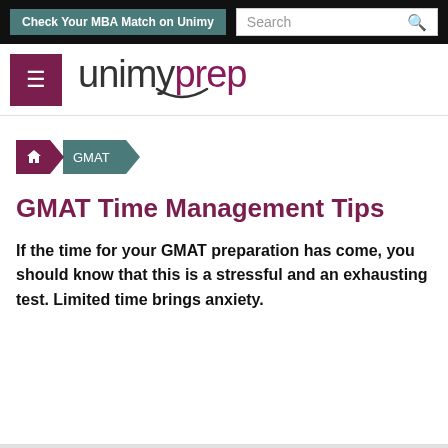Check Your MBA Match on Unimy | Search
[Figure (logo): Unimy Prep logo with hamburger menu icon]
[Figure (infographic): Breadcrumb navigation: Home icon > GMAT]
GMAT Time Management Tips
If the time for your GMAT preparation has come, you should know that this is a stressful and an exhausting test. Limited time brings anxiety.